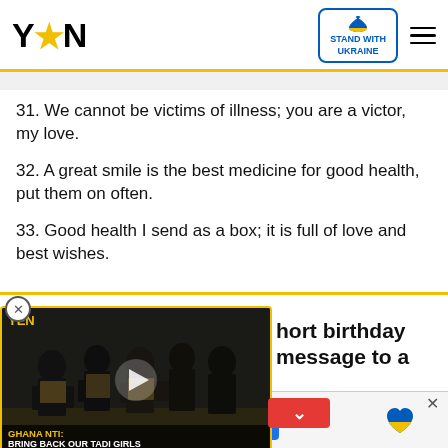YEN | STAND WITH UKRAINE
31. We cannot be victims of illness; you are a victor, my love.
32. A great smile is the best medicine for good health, put them on often.
33. Good health I send as a box; it is full of love and best wishes.
[Figure (screenshot): Video panel showing soldiers/military personnel in tactical gear, with YEN logo overlay, play button, and caption 'GHANA NTI: BRING BACK OUR TADI GIRLS']
hort birthday message to a
each other keep you
[Figure (infographic): Bottom advertisement banner: Help Protect Ukrainian Families - DONATE NOW, with Ukraine flag heart icon]